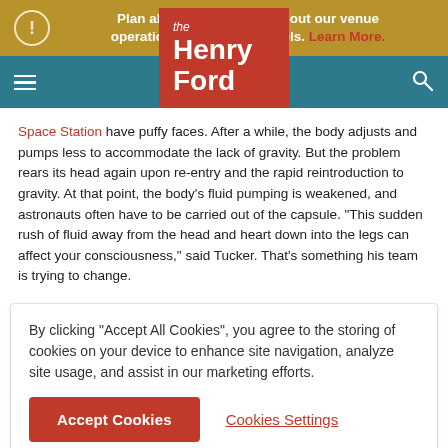Plan ahead: Learn more about our venue operations & safety protocols. Learn More.
[Figure (logo): The Henry Ford museum logo — red square with white text 'the Henry Ford']
Space Station have puffy faces. After a while, the body adjusts and pumps less to accommodate the lack of gravity. But the problem rears its head again upon re-entry and the rapid reintroduction to gravity. At that point, the body's fluid pumping is weakened, and astronauts often have to be carried out of the capsule. "This sudden rush of fluid away from the head and heart down into the legs can affect your consciousness," said Tucker. That's something his team is trying to change.
By clicking "Accept All Cookies", you agree to the storing of cookies on your device to enhance site navigation, analyze site usage, and assist in our marketing efforts.
Accept Cookies   Cookies Settings